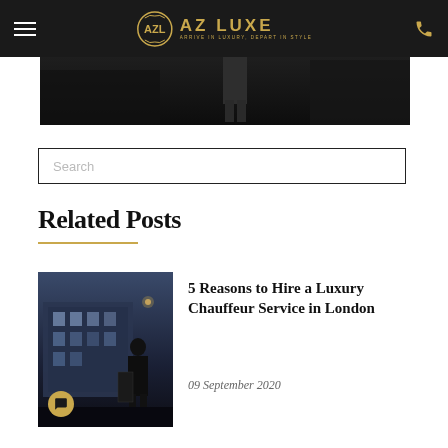AZ LUXE — ARRIVE IN LUXURY, DEPART IN STYLE
[Figure (photo): Dark hero image showing a figure near a luxury vehicle, dark background]
Search
Related Posts
[Figure (photo): Thumbnail image of a luxury chauffeur scene with a person in front of a grand building at night]
5 Reasons to Hire a Luxury Chauffeur Service in London
09 September 2020